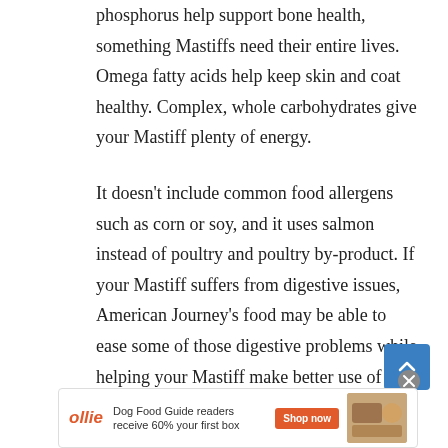phosphorus help support bone health, something Mastiffs need their entire lives. Omega fatty acids help keep skin and coat healthy. Complex, whole carbohydrates give your Mastiff plenty of energy.
It doesn't include common food allergens such as corn or soy, and it uses salmon instead of poultry and poultry by-product. If your Mastiff suffers from digestive issues, American Journey's food may be able to ease some of those digestive problems while helping your Mastiff make better use of the food's nutrients.
The food is manufactured in the United States and uses only n… bag is
[Figure (other): Advertisement banner for Ollie dog food. Shows Ollie logo in orange italic text, text reading 'Dog Food Guide readers receive 60% your first box', orange 'Shop now' button, and a food image on the right. A close (X) button appears at top right of the ad.]